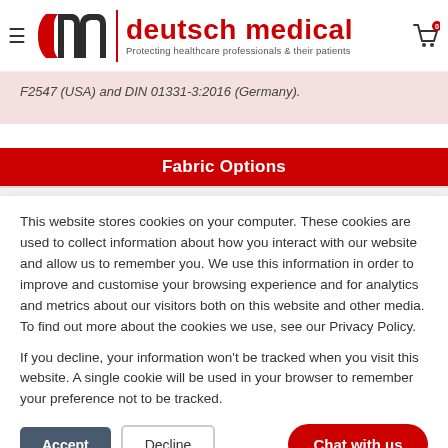[Figure (logo): Deutsch Medical logo with 'dm' icon in red and dark gray, vertical red divider, brand name 'deutsch medical' in red, tagline 'Protecting healthcare professionals & their patients']
F2547 (USA) and DIN 01331-3:2016 (Germany).
Fabric Options
This website stores cookies on your computer. These cookies are used to collect information about how you interact with our website and allow us to remember you. We use this information in order to improve and customise your browsing experience and for analytics and metrics about our visitors both on this website and other media. To find out more about the cookies we use, see our Privacy Policy.
If you decline, your information won't be tracked when you visit this website. A single cookie will be used in your browser to remember your preference not to be tracked.